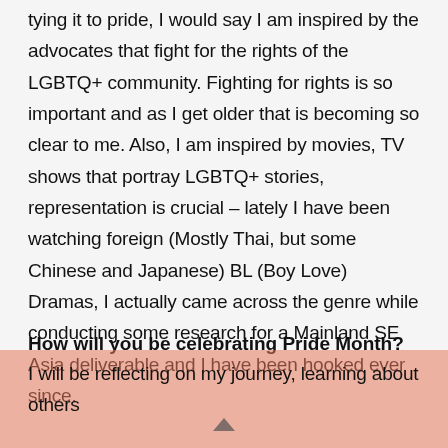tying it to pride, I would say I am inspired by the advocates that fight for the rights of the LGBTQ+ community. Fighting for rights is so important and as I get older that is becoming so clear to me. Also, I am inspired by movies, TV shows that portray LGBTQ+ stories, representation is crucial – lately I have been watching foreign (Mostly Thai, but some Chinese and Japanese) BL (Boy Love) Dramas, I actually came across the genre while conducting some research for a Mainland SE Asia deliverable and I have been hooked ever since.
How will you be celebrating Pride Month?
I will be reflecting on my journey, learning about others